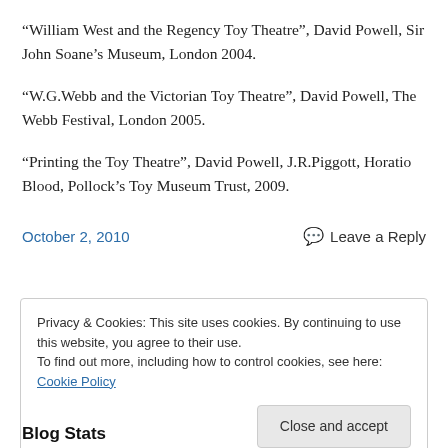“William West and the Regency Toy Theatre”, David Powell, Sir John Soane’s Museum, London 2004.
“W.G.Webb and the Victorian Toy Theatre”, David Powell, The Webb Festival, London 2005.
“Printing the Toy Theatre”, David Powell, J.R.Piggott, Horatio Blood, Pollock’s Toy Museum Trust, 2009.
October 2, 2010
Leave a Reply
Privacy & Cookies: This site uses cookies. By continuing to use this website, you agree to their use.
To find out more, including how to control cookies, see here: Cookie Policy
Close and accept
Blog Stats